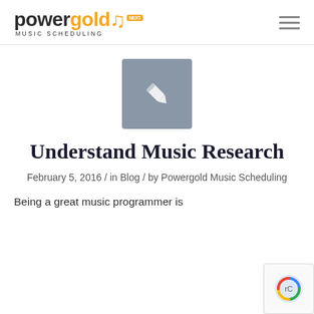powergold MUSIC SCHEDULING
[Figure (illustration): Gray square box with a white pencil/edit icon in the center]
Understand Music Research
February 5, 2016 / in Blog / by Powergold Music Scheduling
Being a great music programmer is